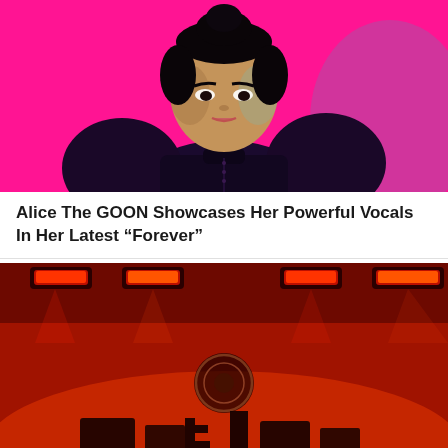[Figure (photo): Woman with dark upswept hair wearing a black puff-sleeve leather high-neck dress, posed against a vivid magenta/hot pink background with teal lighting accents on her neck and shoulders.]
Alice The GOON Showcases Her Powerful Vocals In Her Latest “Forever”
[Figure (photo): Concert stage scene with red atmospheric lighting. Multiple red stage lights visible overhead, heavy red fog/haze filling the space. A circular logo or emblem is partially visible in the center, with dark speaker or equipment structures silhouetted at the bottom.]